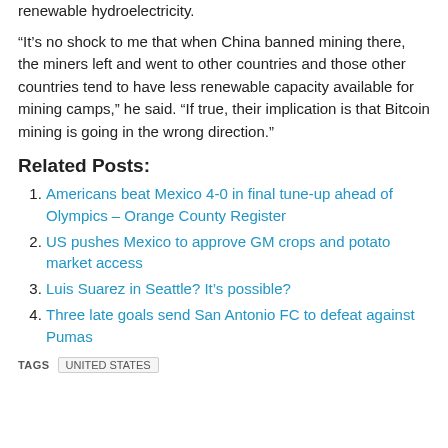renewable hydroelectricity.
“It’s no shock to me that when China banned mining there, the miners left and went to other countries and those other countries tend to have less renewable capacity available for mining camps,” he said. “If true, their implication is that Bitcoin mining is going in the wrong direction.”
Related Posts:
Americans beat Mexico 4-0 in final tune-up ahead of Olympics – Orange County Register
US pushes Mexico to approve GM crops and potato market access
Luis Suarez in Seattle? It’s possible?
Three late goals send San Antonio FC to defeat against Pumas
TAGS  UNITED STATES